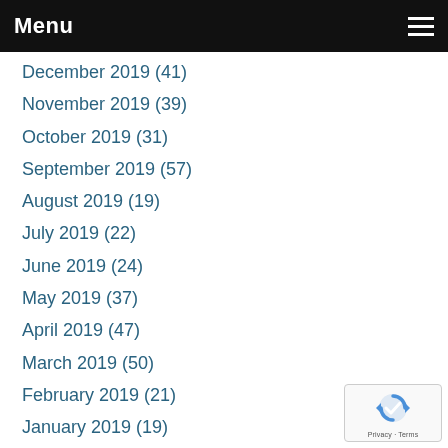Menu
December 2019 (41)
November 2019 (39)
October 2019 (31)
September 2019 (57)
August 2019 (19)
July 2019 (22)
June 2019 (24)
May 2019 (37)
April 2019 (47)
March 2019 (50)
February 2019 (21)
January 2019 (19)
December 2018 (1)